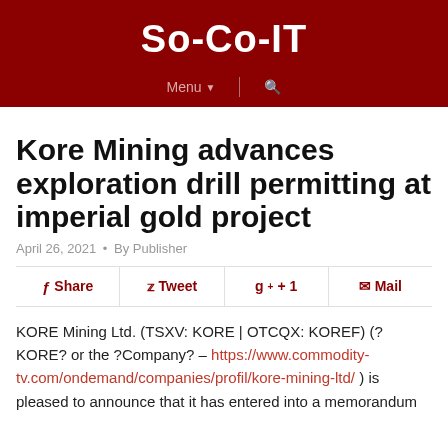So-Co-IT
Kore Mining advances exploration drill permitting at imperial gold project
April 26, 2021 • By Publisher
Share  Tweet  g+ + 1  Mail
KORE Mining Ltd. (TSXV: KORE | OTCQX: KOREF) (?KORE? or the ?Company? – https://www.commodity-tv.com/ondemand/companies/profil/kore-mining-ltd/ ) is pleased to announce that it has entered into a memorandum